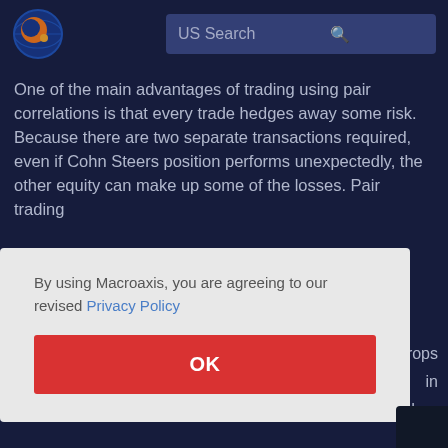[Figure (logo): Macroaxis globe logo — orange and blue circular icon]
US Search
One of the main advantages of trading using pair correlations is that every trade hedges away some risk. Because there are two separate transactions required, even if Cohn Steers position performs unexpectedly, the other equity can make up some of the losses. Pair trading also minimizes risk from directional movement in the [market...] [drops] [in] [e drop]
By using Macroaxis, you are agreeing to our revised Privacy Policy
OK